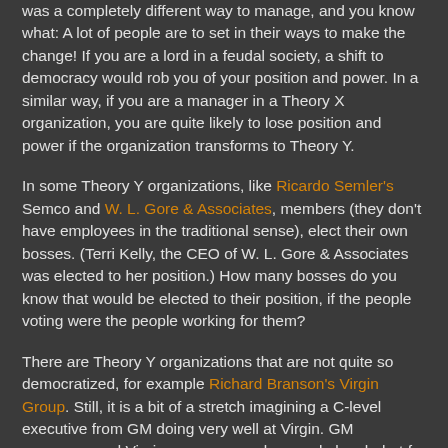was a completely different way to manage, and you know what: A lot of people are to set in their ways to make the change! If you are a lord in a feudal society, a shift to democracy would rob you of your position and power. In a similar way, if you are a manager in a Theory X organization, you are quite likely to lose position and power if the organization transforms to Theory Y.
In some Theory Y organizations, like Ricardo Semler's Semco and W. L. Gore & Associates, members (they don't have employees in the traditional sense), elect their own bosses. (Terri Kelly, the CEO of W. L. Gore & Associates was elected to her position.) How many bosses do you know that would be elected to their position, if the people voting were the people working for them?
There are Theory Y organizations that are not quite so democratized, for example Richard Branson's Virgin Group. Still, it is a bit of a stretch imagining a C-level executive from GM doing very well at Virgin. GM managers and Virgin managers make people laugh, but for entirely different reasons.